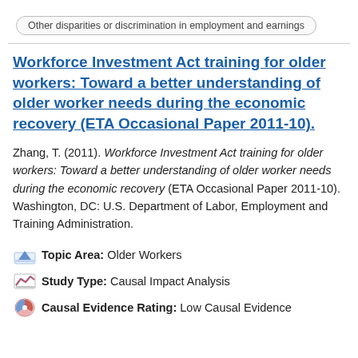Other disparities or discrimination in employment and earnings
Workforce Investment Act training for older workers: Toward a better understanding of older worker needs during the economic recovery (ETA Occasional Paper 2011-10).
Zhang, T. (2011). Workforce Investment Act training for older workers: Toward a better understanding of older worker needs during the economic recovery (ETA Occasional Paper 2011-10). Washington, DC: U.S. Department of Labor, Employment and Training Administration.
Topic Area: Older Workers
Study Type: Causal Impact Analysis
Causal Evidence Rating: Low Causal Evidence